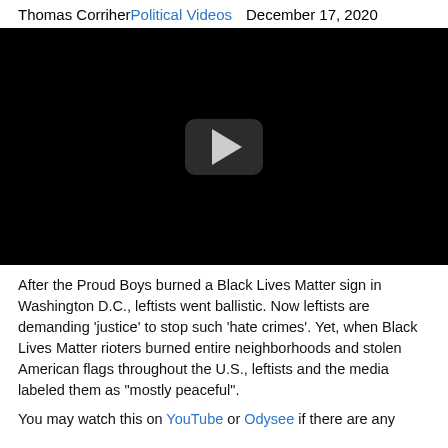Thomas Corriher   Political Videos   December 17, 2020
[Figure (screenshot): Black video player thumbnail with a play button in the center]
After the Proud Boys burned a Black Lives Matter sign in Washington D.C., leftists went ballistic. Now leftists are demanding 'justice' to stop such 'hate crimes'. Yet, when Black Lives Matter rioters burned entire neighborhoods and stolen American flags throughout the U.S., leftists and the media labeled them as "mostly peaceful".
You may watch this on YouTube or Odysee if there are any